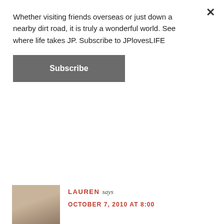Whether visiting friends overseas or just down a nearby dirt road, it is truly a wonderful world. See where life takes JP. Subscribe to JPlovesLIFE
Subscribe
whole new meaning to

morning chores!
LAUREN says
OCTOBER 7, 2010 AT 8:00